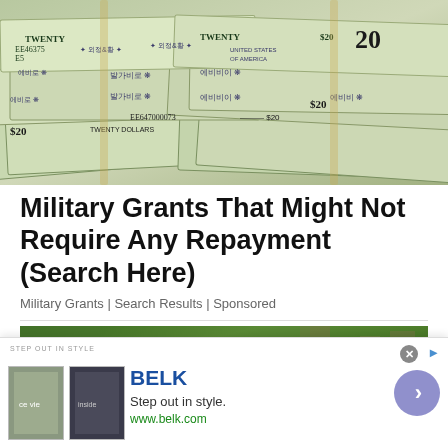[Figure (photo): Stack of US $20 dollar bills bundled together, viewed from above, showing the faces and serial numbers on the bills]
Military Grants That Might Not Require Any Repayment (Search Here)
Military Grants | Search Results | Sponsored
[Figure (photo): Close-up photo of a moss-covered tree trunk in a forest setting]
[Figure (other): Advertisement banner for BELK department store. Shows two fashion images, text 'Step out in style.' and 'www.belk.com'. Has a purple arrow button on the right.]